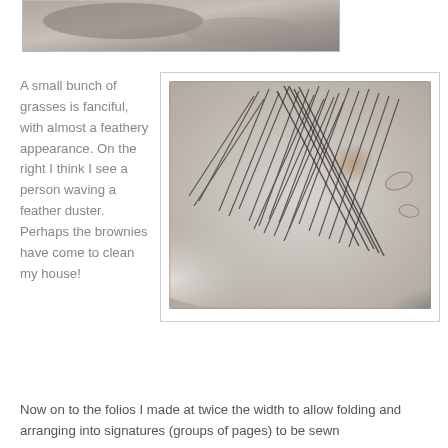[Figure (photo): Partial top image of what appears to be a close-up nature/grass photograph, cropped at the top of the page]
A small bunch of grasses is fanciful, with almost a feathery appearance. On the right I think I see a person waving a feather duster. Perhaps the brownies have come to clean my house!
[Figure (photo): Close-up photograph of grasses with a feathery, smoky appearance against a light background, mounted in a white bordered frame]
Now on to the folios I made at twice the width to allow folding and arranging into signatures (groups of pages) to be sewn